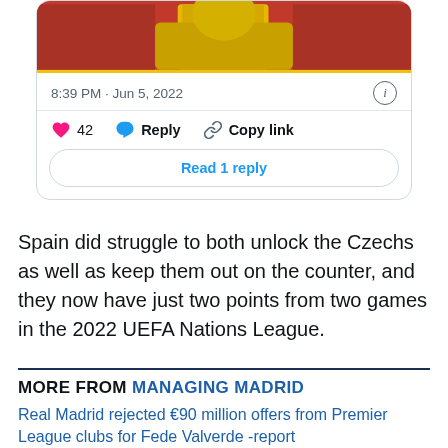[Figure (screenshot): Tweet card showing a soccer player in yellow jersey. Timestamp: 8:39 PM · Jun 5, 2022. Actions: 42 likes (heart icon), Reply, Copy link. Read 1 reply button.]
Spain did struggle to both unlock the Czechs as well as keep them out on the counter, and they now have just two points from two games in the 2022 UEFA Nations League.
MORE FROM MANAGING MADRID
Real Madrid rejected €90 million offers from Premier League clubs for Fede Valverde -report